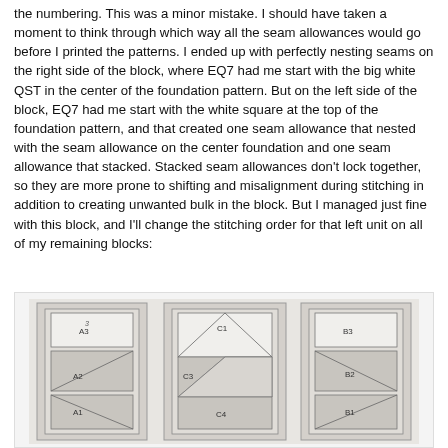the numbering. This was a minor mistake. I should have taken a moment to think through which way all the seam allowances would go before I printed the patterns. I ended up with perfectly nesting seams on the right side of the block, where EQ7 had me start with the big white QST in the center of the foundation pattern. But on the left side of the block, EQ7 had me start with the white square at the top of the foundation pattern, and that created one seam allowance that nested with the seam allowance on the center foundation and one seam allowance that stacked. Stacked seam allowances don't lock together, so they are more prone to shifting and misalignment during stitching in addition to creating unwanted bulk in the block. But I managed just fine with this block, and I'll change the stitching order for that left unit on all of my remaining blocks:
[Figure (photo): Three quilting foundation paper piecing patterns shown side by side. Each panel shows a rectangular foundation pattern with geometric shapes and labeled sections. Left panel shows sections A1, A2, A3. Center panel shows sections C1, C2, C3, C4. Right panel shows sections B1, B2, B3. The patterns feature triangular and rectangular pieces with diagonal seam lines.]